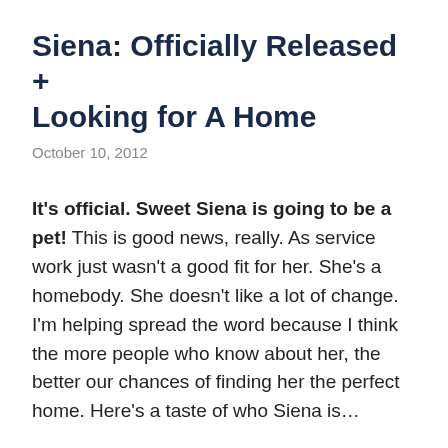Siena: Officially Released + Looking for A Home
October 10, 2012
It's official. Sweet Siena is going to be a pet! This is good news, really. As service work just wasn't a good fit for her. She's a homebody. She doesn't like a lot of change. I'm helping spread the word because I think the more people who know about her, the better our chances of finding her the perfect home. Here's a taste of who Siena is…